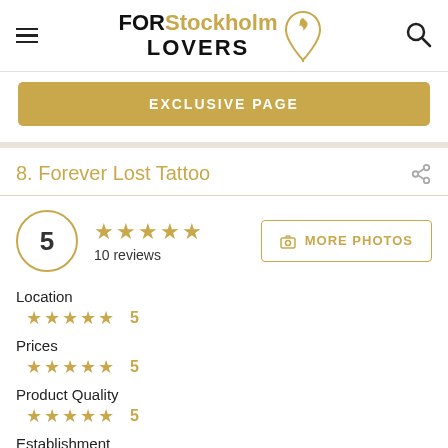FOR Stockholm LOVERS
EXCLUSIVE PAGE
8. Forever Lost Tattoo
5 stars, 10 reviews
MORE PHOTOS
Location
5 stars - 5
Prices
5 stars - 5
Product Quality
5 stars - 5
Establishment